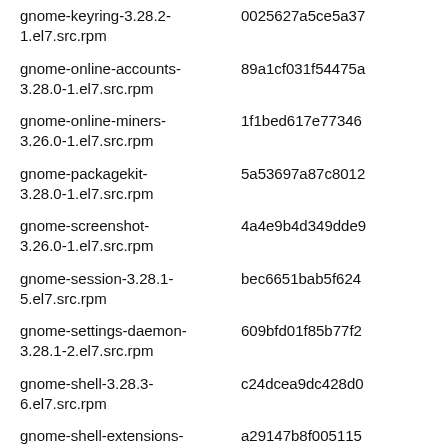| Package | Hash |
| --- | --- |
| gnome-keyring-3.28.2-1.el7.src.rpm | 0025627a5ce5a37 |
| gnome-online-accounts-3.28.0-1.el7.src.rpm | 89a1cf031f54475a |
| gnome-online-miners-3.26.0-1.el7.src.rpm | 1f1bed617e77346 |
| gnome-packagekit-3.28.0-1.el7.src.rpm | 5a53697a87c8012 |
| gnome-screenshot-3.26.0-1.el7.src.rpm | 4a4e9b4d349dde9 |
| gnome-session-3.28.1-5.el7.src.rpm | bec6651bab5f624 |
| gnome-settings-daemon-3.28.1-2.el7.src.rpm | 609bfd01f85b77f2 |
| gnome-shell-3.28.3-6.el7.src.rpm | c24dcea9dc428d0 |
| gnome-shell-extensions-3.28.1-5.el7.src.rpm | a29147b8f005115 |
| gnome-software-3.28.2-3.el7.src.rpm | 61874a657f6eda57 |
| gnome-system-monitor-3.28.2-1.el7.src.rpm | 021066d7187e9bf |